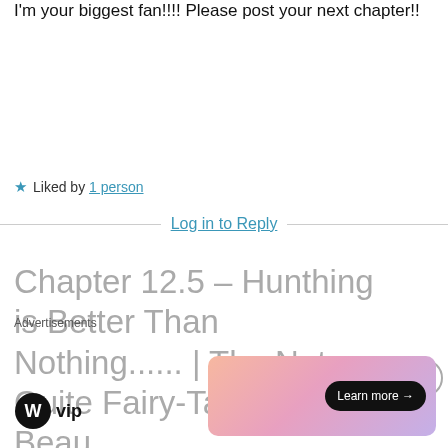I'm your biggest fan!!!! Please post your next chapter!!
★ Liked by 1 person
Log in to Reply
Chapter 12.5 – Hunthing is Better Than Nothing...... | The Not Quite Fairy-Tales of Elle Beau
Advertisements
[Figure (logo): WordPress VIP logo with circular W icon and 'vip' text]
[Figure (infographic): Gradient ad banner with peach/pink/purple colors and a 'Learn more →' button]